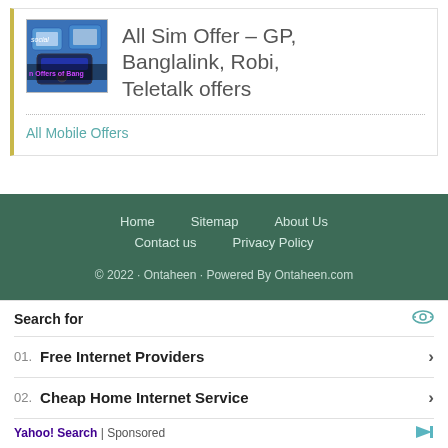[Figure (illustration): Thumbnail image of SIM cards and mobile phone with text 'Sim Offers of Bang' overlay]
All Sim Offer – GP, Banglalink, Robi, Teletalk offers
All Mobile Offers
Home   Sitemap   About Us   Contact us   Privacy Policy   © 2022 · Ontaheen · Powered By Ontaheen.com
Search for
01.  Free Internet Providers
02.  Cheap Home Internet Service
Yahoo! Search | Sponsored